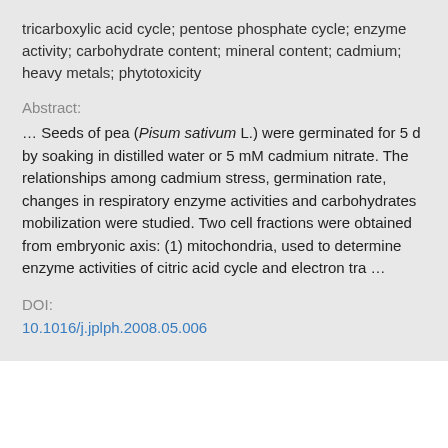tricarboxylic acid cycle; pentose phosphate cycle; enzyme activity; carbohydrate content; mineral content; cadmium; heavy metals; phytotoxicity
Abstract:
… Seeds of pea (Pisum sativum L.) were germinated for 5 d by soaking in distilled water or 5 mM cadmium nitrate. The relationships among cadmium stress, germination rate, changes in respiratory enzyme activities and carbohydrates mobilization were studied. Two cell fractions were obtained from embryonic axis: (1) mitochondria, used to determine enzyme activities of citric acid cycle and electron tra …
DOI:
10.1016/j.jplph.2008.05.006